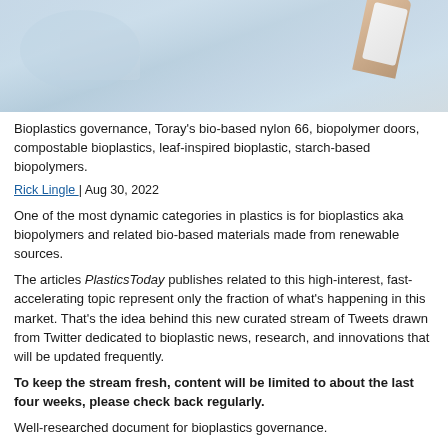[Figure (photo): Blurred laboratory or industrial background with a hand holding a white card or label in the upper right corner]
Bioplastics governance, Toray's bio-based nylon 66, biopolymer doors, compostable bioplastics, leaf-inspired bioplastic, starch-based biopolymers.
Rick Lingle | Aug 30, 2022
One of the most dynamic categories in plastics is for bioplastics aka biopolymers and related bio-based materials made from renewable sources.
The articles PlasticsToday publishes related to this high-interest, fast-accelerating topic represent only the fraction of what's happening in this market. That's the idea behind this new curated stream of Tweets drawn from Twitter dedicated to bioplastic news, research, and innovations that will be updated frequently.
To keep the stream fresh, content will be limited to about the last four weeks, please check back regularly.
Well-researched document for bioplastics governance.